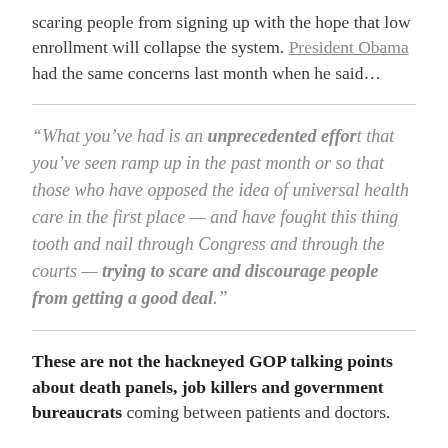scaring people from signing up with the hope that low enrollment will collapse the system. President Obama had the same concerns last month when he said…
“What you’ve had is an unprecedented effort that you’ve seen ramp up in the past month or so that those who have opposed the idea of universal health care in the first place — and have fought this thing tooth and nail through Congress and through the courts — trying to scare and discourage people from getting a good deal.”
These are not the hackneyed GOP talking points about death panels, job killers and government bureaucrats coming between patients and doctors.